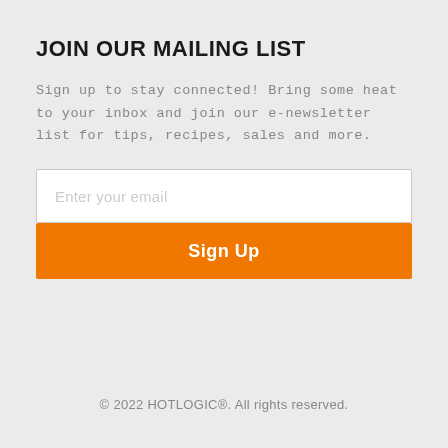JOIN OUR MAILING LIST
Sign up to stay connected! Bring some heat to your inbox and join our e-newsletter list for tips, recipes, sales and more.
Enter your email
Sign Up
© 2022 HOTLOGIC®. All rights reserved.